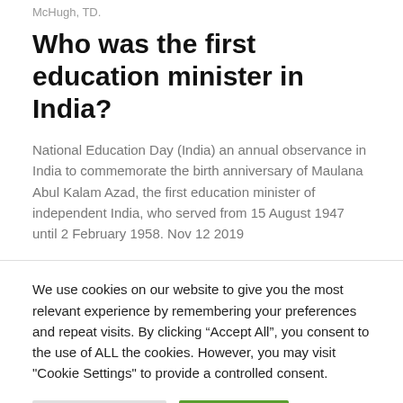McHugh, TD.
Who was the first education minister in India?
National Education Day (India) an annual observance in India to commemorate the birth anniversary of Maulana Abul Kalam Azad, the first education minister of independent India, who served from 15 August 1947 until 2 February 1958. Nov 12 2019
We use cookies on our website to give you the most relevant experience by remembering your preferences and repeat visits. By clicking “Accept All”, you consent to the use of ALL the cookies. However, you may visit "Cookie Settings" to provide a controlled consent.